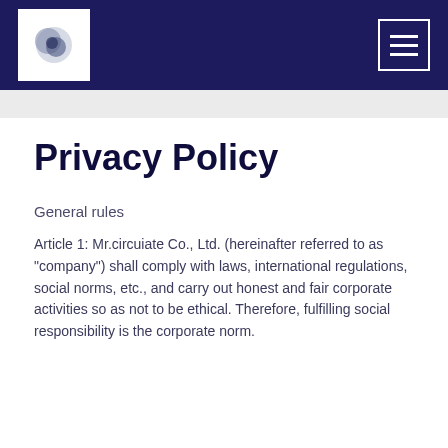Mr.circuiate Co., Ltd. logo and navigation menu
Privacy Policy
General rules
Article 1: Mr.circuiate Co., Ltd. (hereinafter referred to as "company") shall comply with laws, international regulations, social norms, etc., and carry out honest and fair corporate activities so as not to be ethical. Therefore, fulfilling social responsibility is the corporate norm.